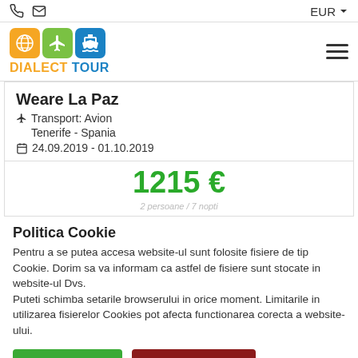EUR
[Figure (logo): Dialect Tour logo with globe, plane, and ship icons]
Weare La Paz
✈ Transport: Avion
Tenerife - Spania
📅 24.09.2019 - 01.10.2019
1215 €
Politica Cookie
Pentru a se putea accesa website-ul sunt folosite fisiere de tip Cookie. Dorim sa va informam ca astfel de fisiere sunt stocate in website-ul Dvs.
Puteti schimba setarile browserului in orice moment. Limitarile in utilizarea fisierelor Cookies pot afecta functionarea corecta a website-ului.
Sunt de acord | Nu sunt de acord